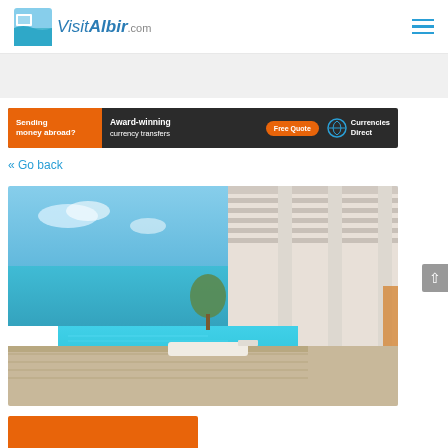[Figure (logo): VisitAlbir.com logo with watercolor beach illustration and stylized text]
[Figure (infographic): Advertisement banner: 'Sending money abroad? Award-winning currency transfers. Free Quote. Currencies Direct']
« Go back
[Figure (photo): Luxury villa with infinity pool overlooking the sea, white modern architecture with pergola and sun lounger]
[Figure (other): Partially visible orange banner at bottom of page]